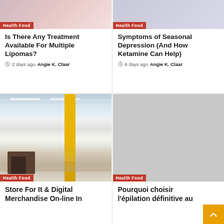[Figure (photo): Top-left article thumbnail with Health Food badge overlay]
Is There Any Treatment Available For Multiple Lipomas?
2 days ago  Angie K. Claar
[Figure (photo): Top-right article thumbnail with Health Food badge overlay]
Symptoms of Seasonal Depression (And How Ketamine Can Help)
6 days ago  Angie K. Claar
[Figure (photo): Shopping mall interior photo with yellow pillar and Health Food badge]
Store For It & Digital Merchandise On-line In
[Figure (photo): Gray placeholder image with Health Food badge]
Pourquoi choisir l'épilation définitive au